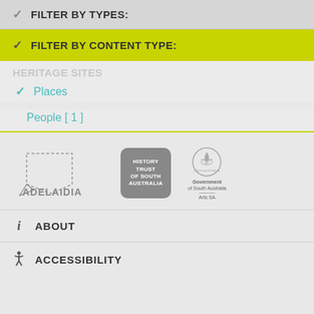FILTER BY TYPES:
FILTER BY CONTENT TYPE:
Places
People [ 1 ]
[Figure (logo): Adelaidia logo with dashed outline map of South Australia]
[Figure (logo): History Trust of South Australia grey rounded square logo]
[Figure (logo): Government of South Australia Arts SA circular emblem with bird]
ABOUT
ACCESSIBILITY